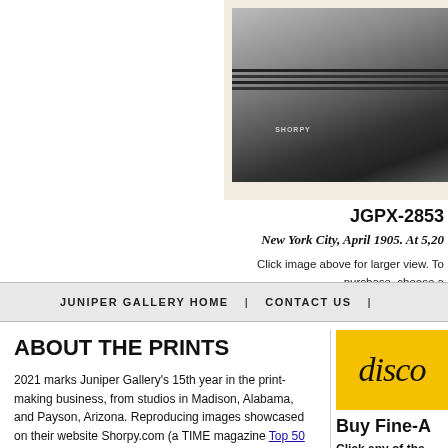[Figure (photo): Black and white historical photograph of an elevated railway in New York City, 1905, showing train tracks and surrounding buildings from above.]
JGPX-2853
New York City, April 1905. At 5,20...
Click image above for larger view. To purchase, choose a...
JUNIPER GALLERY HOME | CONTACT US |
ABOUT THE PRINTS
2021 marks Juniper Gallery's 15th year in the print-making business, from studios in Madison, Alabama, and Payson, Arizona. Reproducing images showcased on their website Shorpy.com (a TIME magazine Top 50 pick), owners Ken Booth and David Hall fill thousands of orders every year for individual customers as well as
[Figure (illustration): Yellow promotional box with italic script text 'disco' (partially visible)]
Buy Fine-A...
Click any of the...